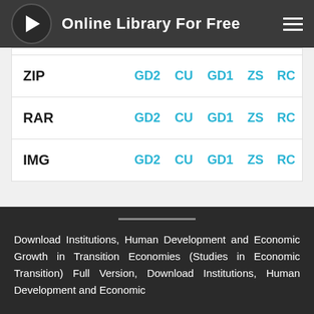Online Library For Free
| Format | Link1 | Link2 | Link3 | Link4 | Link5 |
| --- | --- | --- | --- | --- | --- |
| ZIP | GD2 | CU | GD1 | ZS | RC |
| RAR | GD2 | CU | GD1 | ZS | RC |
| IMG | GD2 | CU | GD1 | ZS | RC |
Download Institutions, Human Development and Economic Growth in Transition Economies (Studies in Economic Transition) Full Version, Download Institutions, Human Development and Economic